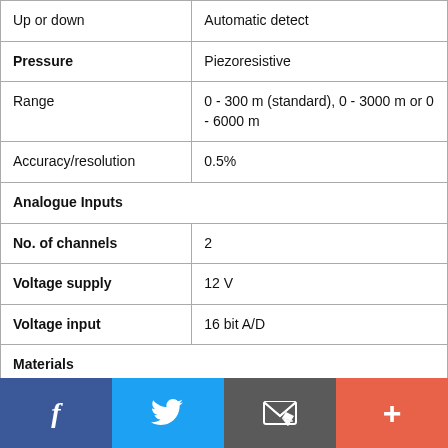| Up or down | Automatic detect |
| Pressure | Piezoresistive |
| Range | 0 - 300 m (standard), 0 - 3000 m or 0 - 6000 m |
| Accuracy/resolution | 0.5% |
| Analogue Inputs |  |
| No. of channels | 2 |
| Voltage supply | 12 V |
| Voltage input | 16 bit A/D |
| Materials |  |
[Figure (other): Social media share bar at bottom: Facebook (blue), Twitter (light blue), Email (grey), Plus/More (orange-red)]